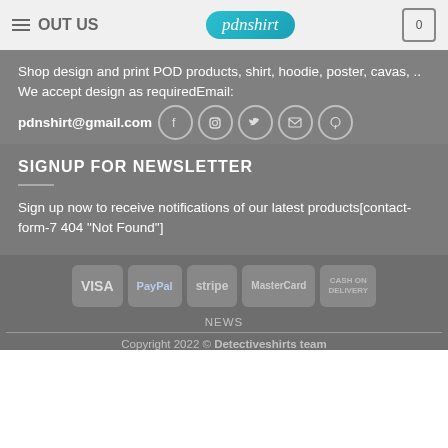OUT US — pdnshirt logo — cart 0
Shop design and print POD products, shirt, hoodie, poster, cavas, .. We accept design as requiredEmail: pdnshirt@gmail.com
[Figure (infographic): Social media icons: Facebook, Instagram, Twitter, Email, Pinterest in circles]
SIGNUP FOR NEWSLETTER
Sign up now to receive notifications of our latest products[contact-form-7 404 "Not Found"]
[Figure (infographic): Payment method badges: VISA, PayPal, stripe, MasterCard, CASH ON DELIVERY]
NEWS
Copyright 2022 © Detectiveshirts team